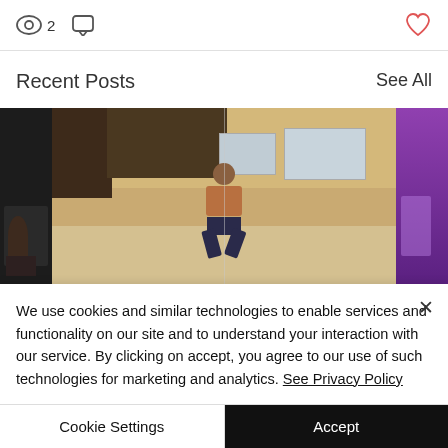[Figure (screenshot): Top bar with eye icon showing view count of 2, comment bubble icon, and a red heart/like icon on the right]
Recent Posts
See All
[Figure (photo): Three images in a horizontal strip: left partial dark image of people, center image of a person jumping/dancing in a studio room, right partial purple-lit image of a person]
We use cookies and similar technologies to enable services and functionality on our site and to understand your interaction with our service. By clicking on accept, you agree to our use of such technologies for marketing and analytics. See Privacy Policy
Cookie Settings
Accept